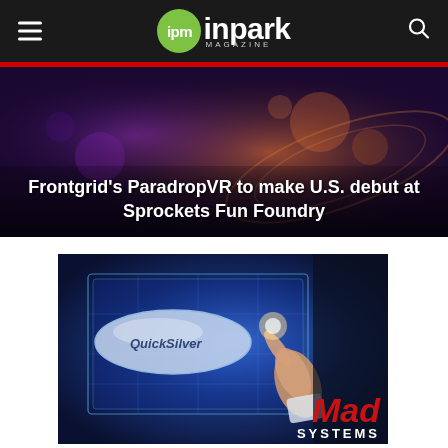ipm inpark MAGAZINE
[Figure (photo): Dark atmospheric image with colorful light patterns, purple and orange hues, bokeh effects]
Frontgrid's ParadropVR to make U.S. debut at Sprockets Fun Foundry
[Figure (photo): Digital holographic interface screen with a hand pointing, QuickSilver blimp design, Mad Systems logo in bottom right corner]